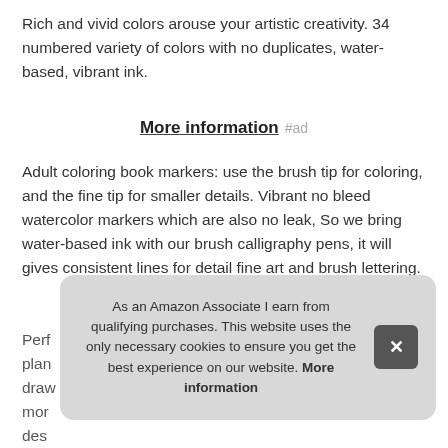Rich and vivid colors arouse your artistic creativity. 34 numbered variety of colors with no duplicates, water-based, vibrant ink.
More information #ad
Adult coloring book markers: use the brush tip for coloring, and the fine tip for smaller details. Vibrant no bleed watercolor markers which are also no leak, So we bring water-based ink with our brush calligraphy pens, it will gives consistent lines for detail fine art and brush lettering.
Perf... plan... dra... mor... des...
As an Amazon Associate I earn from qualifying purchases. This website uses the only necessary cookies to ensure you get the best experience on our website. More information